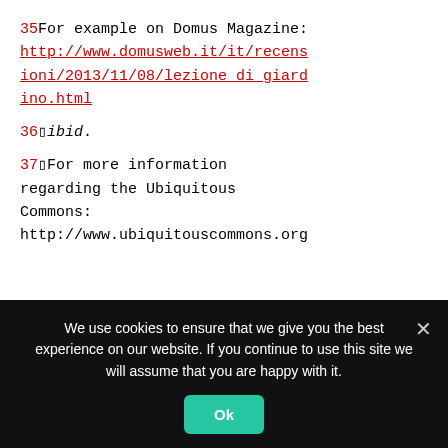35For example on Domus Magazine: http://www.domusweb.it/it/recensioni/2013/11/08/lezione_di_giardino.html
36 ibid.
37 For more information regarding the Ubiquitous Commons: http://www.ubiquitouscommons.org
We use cookies to ensure that we give you the best experience on our website. If you continue to use this site we will assume that you are happy with it.